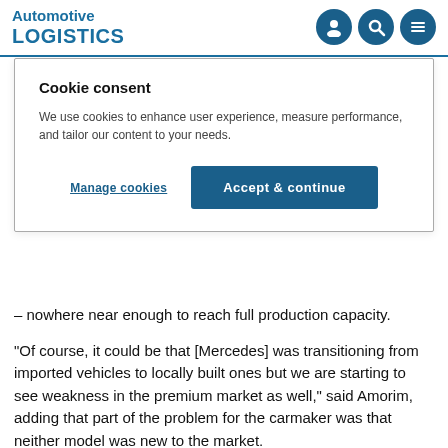Automotive LOGISTICS
Cookie consent
We use cookies to enhance user experience, measure performance, and tailor our content to your needs.
Manage cookies | Accept & continue
– nowhere near enough to reach full production capacity.
"Of course, it could be that [Mercedes] was transitioning from imported vehicles to locally built ones but we are starting to see weakness in the premium market as well," said Amorim, adding that part of the problem for the carmaker was that neither model was new to the market.